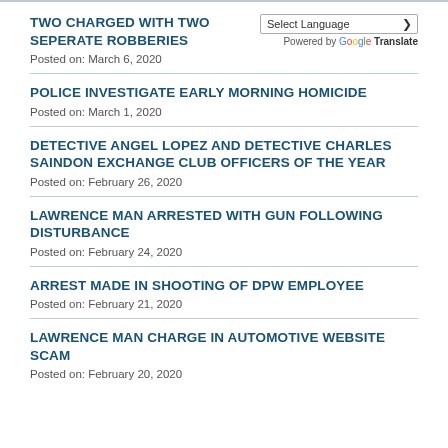TWO CHARGED WITH TWO SEPERATE ROBBERIES
Posted on: March 6, 2020
POLICE INVESTIGATE EARLY MORNING HOMICIDE
Posted on: March 1, 2020
DETECTIVE ANGEL LOPEZ AND DETECTIVE CHARLES SAINDON EXCHANGE CLUB OFFICERS OF THE YEAR
Posted on: February 26, 2020
LAWRENCE MAN ARRESTED WITH GUN FOLLOWING DISTURBANCE
Posted on: February 24, 2020
ARREST MADE IN SHOOTING OF DPW EMPLOYEE
Posted on: February 21, 2020
LAWRENCE MAN CHARGE IN AUTOMOTIVE WEBSITE SCAM
Posted on: February 20, 2020